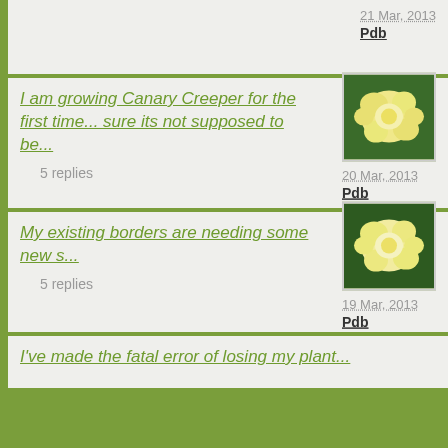21 Mar, 2013
Pdb
I am growing Canary Creeper for the first time... sure its not supposed to be...
5 replies
20 Mar, 2013
Pdb
My existing borders are needing some new s...
5 replies
19 Mar, 2013
Pdb
I've made the fatal error of losing my plant...